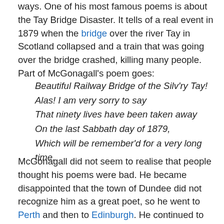ways. One of his most famous poems is about the Tay Bridge Disaster. It tells of a real event in 1879 when the bridge over the river Tay in Scotland collapsed and a train that was going over the bridge crashed, killing many people. Part of McGonagall's poem goes:
Beautiful Railway Bridge of the Silv'ry Tay!
Alas! I am very sorry to say
That ninety lives have been taken away
On the last Sabbath day of 1879,
Which will be remember'd for a very long time.
McGonagall did not seem to realise that people thought his poems were bad. He became disappointed that the town of Dundee did not recognize him as a great poet, so he went to Perth and then to Edinburgh. He continued to write poetry. He travelled to London because he had been given an invitation to meet the famous actor Sir Henry Irvine. However, someone had been playing a trick on him: